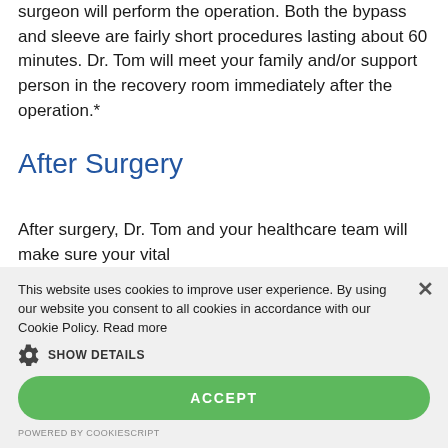surgeon will perform the operation. Both the bypass and sleeve are fairly short procedures lasting about 60 minutes. Dr. Tom will meet your family and/or support person in the recovery room immediately after the operation.*
After Surgery
After surgery, Dr. Tom and your healthcare team will make sure your vital
This website uses cookies to improve user experience. By using our website you consent to all cookies in accordance with our Cookie Policy. Read more
SHOW DETAILS
ACCEPT
POWERED BY COOKIESCRIPT